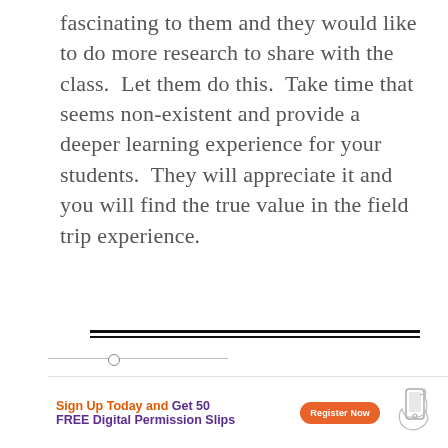fascinating to them and they would like to do more research to share with the class.  Let them do this.  Take time that seems non-existent and provide a deeper learning experience for your students.  They will appreciate it and you will find the true value in the field trip experience.
[Figure (other): Horizontal double rule divider line]
[Figure (infographic): Advertisement banner: Sign Up Today and Get 50 FREE Digital Permission Slips with Register Now button and hand holding phone illustration]